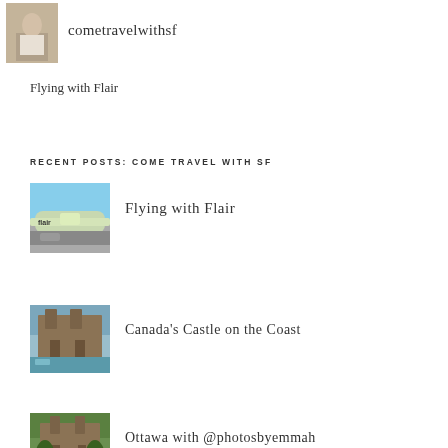[Figure (photo): Small profile photo of a person on a path]
cometravelwithsf
Flying with Flair
RECENT POSTS: COME TRAVEL WITH SF
[Figure (photo): Flair Airlines airplane on tarmac]
Flying with Flair
[Figure (photo): Castle-like hotel on the coast with harbour]
Canada's Castle on the Coast
[Figure (photo): Large castle/chateau building with trees and a person]
Ottawa with @photosbyemmah